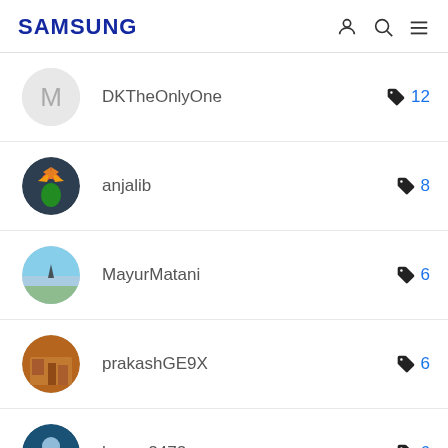SAMSUNG
DKTheOnlyOne  🏷 12
anjalib  🏷 8
MayurMatani  🏷 6
prakashGE9X  🏷 6
honey2472  🏷 6